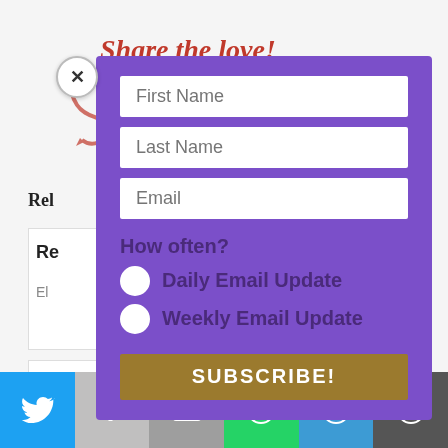Share the love!
Rel
Re
El
R
by
[Figure (screenshot): Email subscription modal popup on purple background with fields for First Name, Last Name, Email, radio buttons for Daily Email Update and Weekly Email Update, and a SUBSCRIBE! button in dark gold]
First Name
Last Name
Email
How often?
Daily Email Update
Weekly Email Update
SUBSCRIBE!
[Figure (infographic): Social sharing bar with Twitter, Facebook, Email, WhatsApp, SMS, and More icons]